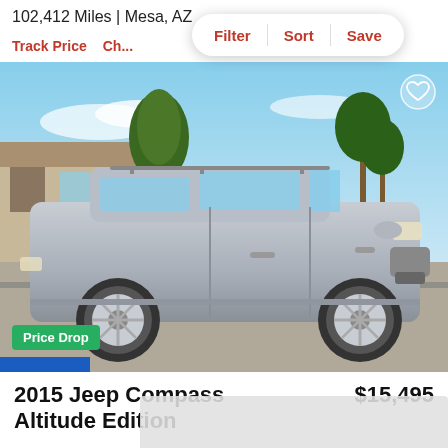102,412 Miles | Mesa, AZ
Filter  Sort  Save
Track Price  Ch...
[Figure (photo): Side profile photo of a silver 2015 Jeep Compass Altitude Edition parked in a residential driveway in Mesa, AZ. Trees and houses visible in background. Price Drop badge in green at bottom left.]
Price Drop
2015 Jeep Compass Altitude Edition
$15,495